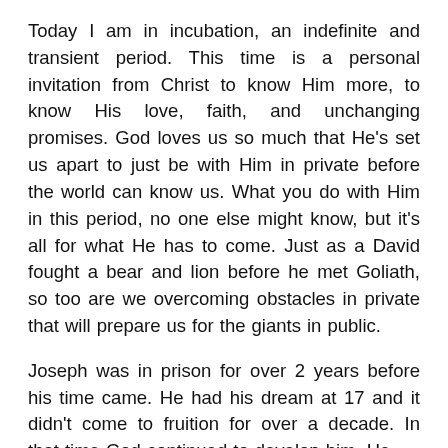Today I am in incubation, an indefinite and transient period. This time is a personal invitation from Christ to know Him more, to know His love, faith, and unchanging promises. God loves us so much that He's set us apart to just be with Him in private before the world can know us. What you do with Him in this period, no one else might know, but it's all for what He has to come. Just as a David fought a bear and lion before he met Goliath, so too are we overcoming obstacles in private that will prepare us for the giants in public.
Joseph was in prison for over 2 years before his time came. He had his dream at 17 and it didn't come to fruition for over a decade. In that time God continued to develop him. He